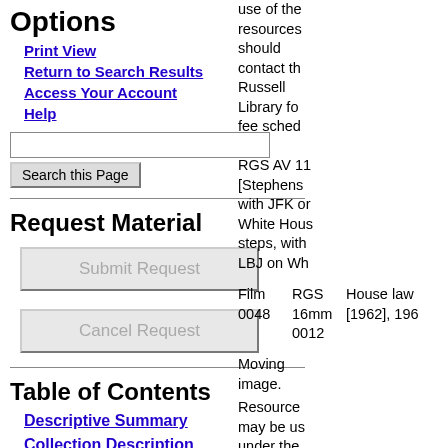Options
Print View
Return to Search Results
Access Your Account
Help
Search this Page (input field)
Request Material
Submit Request
Cancel Request
Table of Contents
Descriptive Summary
Collection Description
Administrative Information
use of the resources should contact the Russell Library for fee schedule
RGS AV 11 [Stephens with JFK on White House steps, with LBJ on White House lawn [1962], 196
Film 0048
RGS 16mm 0012
Moving image.
Resource may be used under the guidelines described the U.S. Copyright Office in Section 1 Title 17, United States